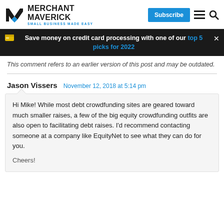Merchant Maverick — SMALL BUSINESS MADE EASY
Save money on credit card processing with one of our top 5 picks for 2022
This comment refers to an earlier version of this post and may be outdated.
Jason Vissers   November 12, 2018 at 5:14 pm
Hi Mike! While most debt crowdfunding sites are geared toward much smaller raises, a few of the big equity crowdfunding outfits are also open to facilitating debt raises. I'd recommend contacting someone at a company like EquityNet to see what they can do for you.

Cheers!